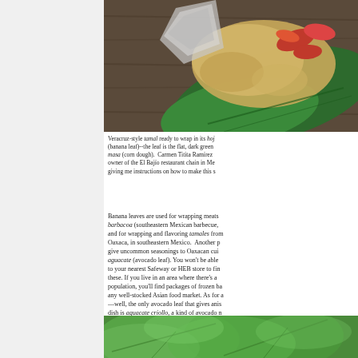[Figure (photo): Close-up of a Veracruz-style tamal with red peppers and masa on a banana leaf on a wooden surface]
Veracruz-style tamal ready to wrap in its hoja (banana leaf)--the leaf is the flat, dark green masa (corn dough).  Carmen Titita Ramírez owner of the El Bajío restaurant chain in Me giving me instructions on how to make this s
Banana leaves are used for wrapping meats barbacoa (southeastern Mexican barbecue, and for wrapping and flavoring tamales from Oaxaca, in southeastern Mexico.  Another p give uncommon seasonings to Oaxacan cui aguacate (avocado leaf). You won't be able to your nearest Safeway or HEB store to fin these. If you live in an area where there's a population, you'll find packages of frozen ba any well-stocked Asian food market. As for a —well, the only avocado leaf that gives anis dish is aguacate criollo, a kind of avocado n and doesn't grow elsewhere. Unfortunately t seasoning substitute for them; the standard leaf has no flavor.
[Figure (photo): Close-up of green leaves, possibly avocado or banana leaves]